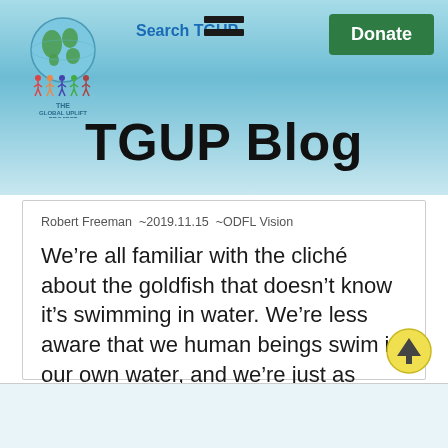TGUP Blog
Search TGUP
Donate
TGUP Blog
Robert Freeman  ~2019.11.15  ~ODFL Vision
We’re all familiar with the cliché about the goldfish that doesn’t know it’s swimming in water. We’re less aware that we human beings swim in our own water, and we’re just as unaware as is the goldfish that we do so. The question is, what is our water?
Read More